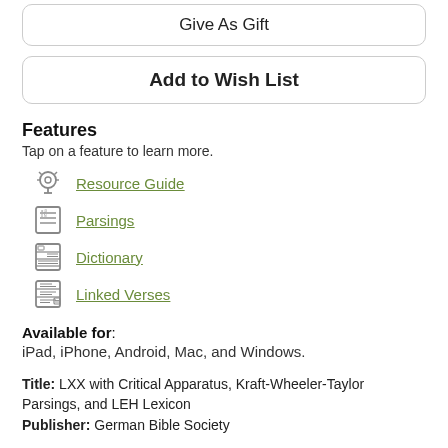Give As Gift
Add to Wish List
Features
Tap on a feature to learn more.
Resource Guide
Parsings
Dictionary
Linked Verses
Available for: iPad, iPhone, Android, Mac, and Windows.
Title: LXX with Critical Apparatus, Kraft-Wheeler-Taylor Parsings, and LEH Lexicon
Publisher: German Bible Society